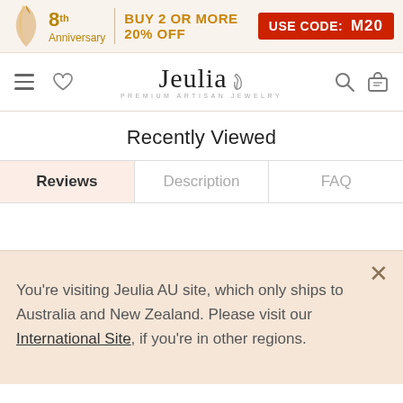[Figure (screenshot): 8th Anniversary promotional banner with ribbon icon: BUY 2 OR MORE 20% OFF USE CODE: M20]
Jeulia - PREMIUM ARTISAN JEWELRY
Recently Viewed
Reviews | Description | FAQ (tabs)
You're visiting Jeulia AU site, which only ships to Australia and New Zealand. Please visit our International Site, if you're in other regions.